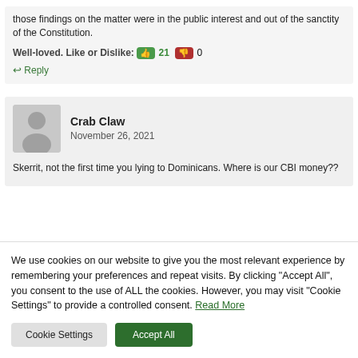those findings on the matter were in the public interest and out of the sanctity of the Constitution.
Well-loved. Like or Dislike: 21 0
Reply
Crab Claw
November 26, 2021
Skerrit, not the first time you lying to Dominicans. Where is our CBI money??
We use cookies on our website to give you the most relevant experience by remembering your preferences and repeat visits. By clicking "Accept All", you consent to the use of ALL the cookies. However, you may visit "Cookie Settings" to provide a controlled consent. Read More
Cookie Settings
Accept All